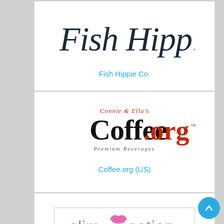[Figure (logo): Fish Hippie Co. script logo in dark navy/teal cursive lettering]
Fish Hippie Co.
[Figure (logo): Coffee.org logo with 'Connie & Ella's' cursive text above, 'Coffee' in large black serif, '.org' in red with registered trademark symbol, and 'Premium Beverages' text below]
Coffee.org (US)
[Figure (logo): SlimSation logo: 'slim' in gray lowercase, pink hourglass figure icon, 'sation' in gray lowercase, all inside a thin border rectangle]
SlimSation